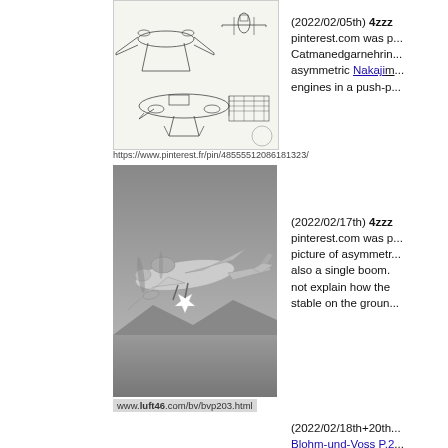[Figure (engineering-diagram): Three-view blueprint/schematic drawing of an asymmetric twin-engine aircraft (Nakajima), showing top, front, and side views in line art style]
https://www.pinterest.fr/pin/48555512086181323/
[Figure (photo): Black and white aerial photograph of an asymmetric single-boom aircraft in flight, with a star marking on the fuselage, mountains visible below]
www.luft46.com/bv/bvp203.html
(2022/02/05th) 4zzz pinterest.com was p... Catmanedgarnehrin... asymmetric Nakaji... engines in a push-p...
(2022/02/17th) 4zzz pinterest.com was p... picture of asymmetr... also a single boom. not explain how the stable on the groun...
(2022/02/18th+20th... Blohm-und-Voss P.2... with piston. List sho...